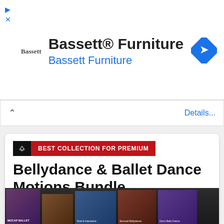[Figure (screenshot): Bassett Furniture advertisement banner with logo, bold title text, blue subtitle, and blue diamond navigation icon]
Details...
[Figure (screenshot): BEST COLLECTION FOR PREMIUM badge with dark and red sections]
Bellydance & Ballet Dance Motions Bundle
Author: kingdom3d  2022-08-21  Comments: 7
[Figure (photo): Bottom strip showing product box covers for dance motion collections including MOCAP BALLET and other bundles]